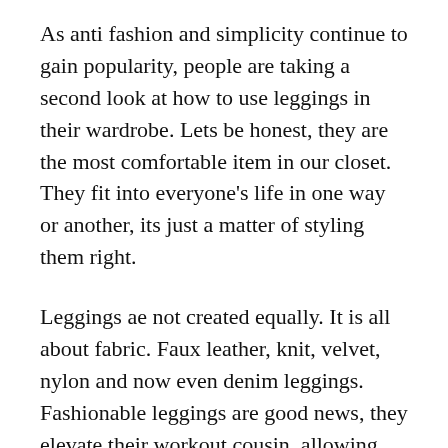As anti fashion and simplicity continue to gain popularity, people are taking a second look at how to use leggings in their wardrobe. Lets be honest, they are the most comfortable item in our closet. They fit into everyone's life in one way or another, its just a matter of styling them right.
Leggings ae not created equally. It is all about fabric. Faux leather, knit, velvet, nylon and now even denim leggings. Fashionable leggings are good news, they elevate their workout cousin, allowing for endless weekend outings. Materials make leggings efficient. They are flattering and multi functional. Especially with runways going for seasonless